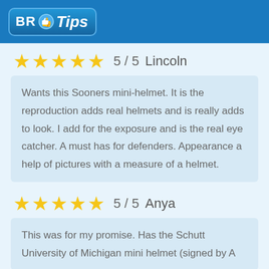BR Tips
5 / 5  Lincoln
Wants this Sooners mini-helmet. It is the reproduction adds real helmets and is really adds to look. I add for the exposure and is the real eye catcher. A must has for defenders. Appearance a help of pictures with a measure of a helmet.
5 / 5  Anya
This was for my promise. Has the Schutt University of Michigan mini helmet (signed by A